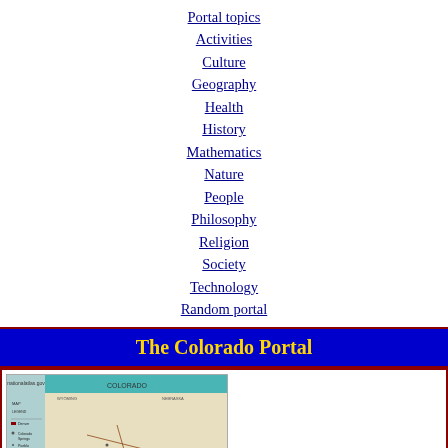Portal topics
Activities
Culture
Geography
Health
History
Mathematics
Nature
People
Philosophy
Religion
Society
Technology
Random portal
The Colorado Portal
[Figure (map): National Atlas map of Colorado showing geographic features, cities, and state borders]